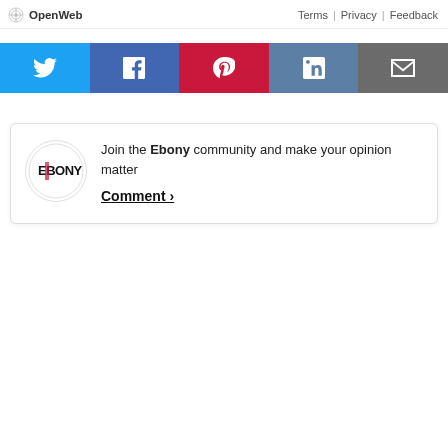OpenWeb  Terms | Privacy | Feedback
[Figure (infographic): Social sharing buttons row: Twitter (blue), Facebook (dark blue), Pinterest (red), LinkedIn (steel blue), Email (dark gray), each with a white icon centered in a colored rectangle]
Join the Ebony community and make your opinion matter  Comment >